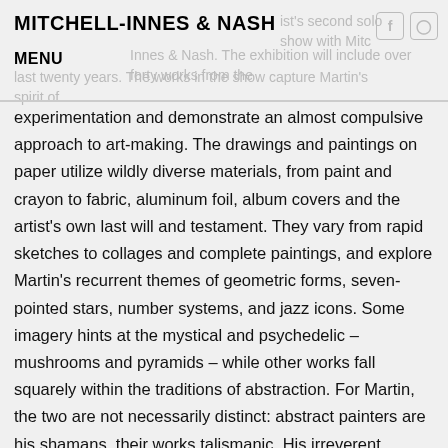MITCHELL-INNES & NASH
experimentation and demonstrate an almost compulsive approach to art-making. The drawings and paintings on paper utilize wildly diverse materials, from paint and crayon to fabric, aluminum foil, album covers and the artist's own last will and testament. They vary from rapid sketches to collages and complete paintings, and explore Martin's recurrent themes of geometric forms, seven-pointed stars, number systems, and jazz icons. Some imagery hints at the mystical and psychedelic – mushrooms and pyramids – while other works fall squarely within the traditions of abstraction. For Martin, the two are not necessarily distinct: abstract painters are his shamans, their works talismanic. His irreverent references to artists including Alfred Jensen, Frank Stella, and Barnett Newman yield a body of work both playful and utterly serious about the practice of painting. Chris Martin was born in 1954 and lives and works in Brooklyn, New York. He received